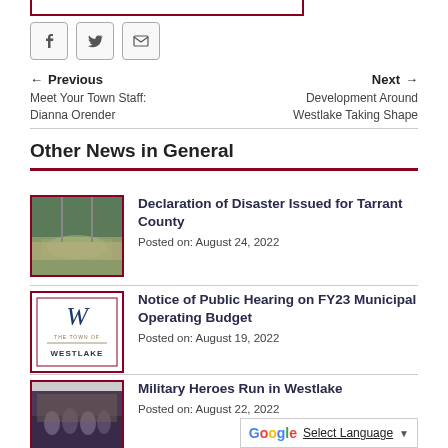[Figure (other): Social share buttons: Facebook, Twitter, Email]
← Previous
Meet Your Town Staff: Dianna Orender
Next →
Development Around Westlake Taking Shape
Other News in General
[Figure (photo): Flooded river with power lines]
Declaration of Disaster Issued for Tarrant County
Posted on: August 24, 2022
[Figure (logo): The Town of Westlake logo]
Notice of Public Hearing on FY23 Municipal Operating Budget
Posted on: August 19, 2022
[Figure (photo): Group of people in Westlake military heroes run]
Military Heroes Run in Westlake
Posted on: August 22, 2022
Select Language